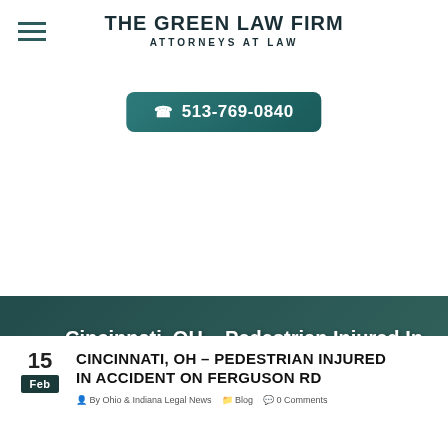THE GREEN LAW FIRM
ATTORNEYS AT LAW
☎ 513-769-0840
[Figure (screenshot): Law firm website hero banner with dark teal overlay on background photo of hands writing. Contains page title and breadcrumb navigation.]
Cincinnati, OH – Pedestrian Injured In Accident On Ferguson Rd
Home » Blog » Cincinnati, OH – Pedestrian Injured in Accident on Ferguson Rd
15
Feb
CINCINNATI, OH – PEDESTRIAN INJURED IN ACCIDENT ON FERGUSON RD
By Ohio & Indiana Legal News   Blog   0 Comments